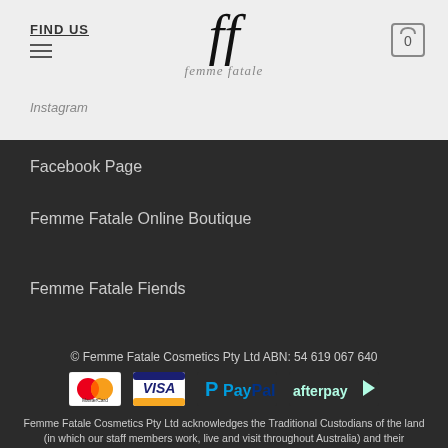FIND US
Instagram
[Figure (logo): Femme Fatale script logo with stylized 'ff' monogram]
Facebook Page
Femme Fatale Online Boutique
Femme Fatale Fiends
© Femme Fatale Cosmetics Pty Ltd ABN: 54 619 067 640
[Figure (logo): Payment logos: MasterCard, Visa, PayPal, Afterpay]
Femme Fatale Cosmetics Pty Ltd acknowledges the Traditional Custodians of the land (in which our staff members work, live and visit throughout Australia) and their connections to land, sea and community. We pay our respect to their elders past and present and extend that respect to all Aboriginal and Torres Strait Islander peoples today